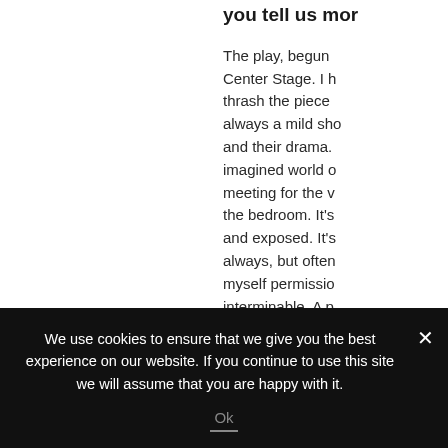you tell us mor
The play, begun Center Stage. I h thrash the piece always a mild sho and their drama. imagined world o meeting for the v the bedroom. It's and exposed. It's always, but often myself permissio interminable. A p punch-lines, beat
We use cookies to ensure that we give you the best experience on our website. If you continue to use this site we will assume that you are happy with it.
Ok